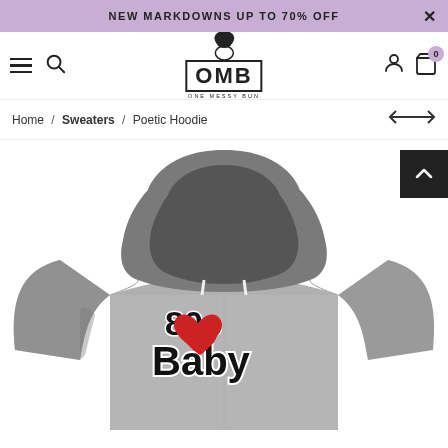NEW MARKDOWNS UP TO 70% OFF
[Figure (logo): OMB One Messy Bun logo with topknot icon in a box]
Home / Sweaters / Poetic Hoodie
[Figure (photo): Gray hoodie with '80s Baby' text and red heart graphic on the chest]